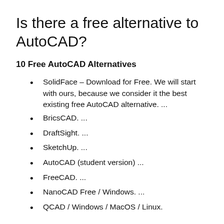Is there a free alternative to AutoCAD?
10 Free AutoCAD Alternatives
SolidFace – Download for Free. We will start with ours, because we consider it the best existing free AutoCAD alternative. ...
BricsCAD. ...
DraftSight. ...
SketchUp. ...
AutoCAD (student version) ...
FreeCAD. ...
NanoCAD Free / Windows. ...
QCAD / Windows / MacOS / Linux.